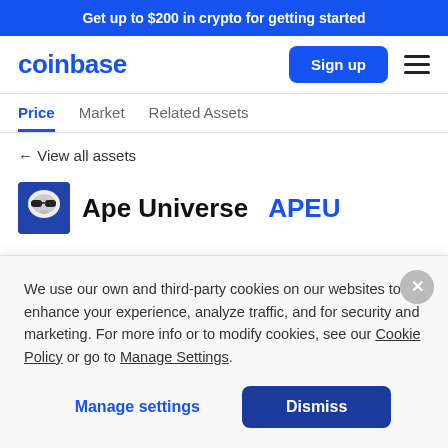Get up to $200 in crypto for getting started
[Figure (logo): Coinbase logo in blue text]
Sign up
Price | Market | Related Assets (tab navigation, Price active)
← View all assets
Ape Universe APEU
We use our own and third-party cookies on our websites to enhance your experience, analyze traffic, and for security and marketing. For more info or to modify cookies, see our Cookie Policy or go to Manage Settings.
Manage settings
Dismiss